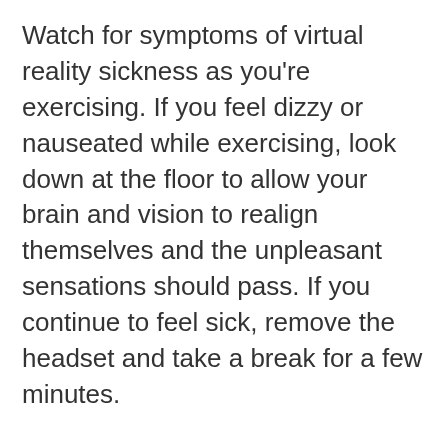Watch for symptoms of virtual reality sickness as you're exercising. If you feel dizzy or nauseated while exercising, look down at the floor to allow your brain and vision to realign themselves and the unpleasant sensations should pass. If you continue to feel sick, remove the headset and take a break for a few minutes.
Use built-in data analytics to track your workouts and gauge the effectiveness of your fitness routine. Many programs are equipped to track workout intensity, distance covered, basal metabolic rate, and more. Using this data, you can decide to increase or decrease workout intensity to achieve your fitness goals. VR can also help you plan your workouts to avoid